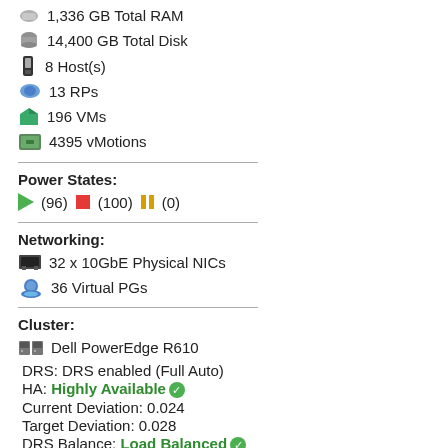1,336 GB Total RAM
14,400 GB Total Disk
8 Host(s)
13 RPs
196 VMs
4395 vMotions
Power States:
(96) (100) (0)
Networking:
32 x 10GbE Physical NICs
36 Virtual PGs
Cluster:
Dell PowerEdge R610
DRS: DRS enabled (Full Auto)
HA: Highly Available
Current Deviation: 0.024
Target Deviation: 0.028
DRS Balance: Load Balanced
Hardware: